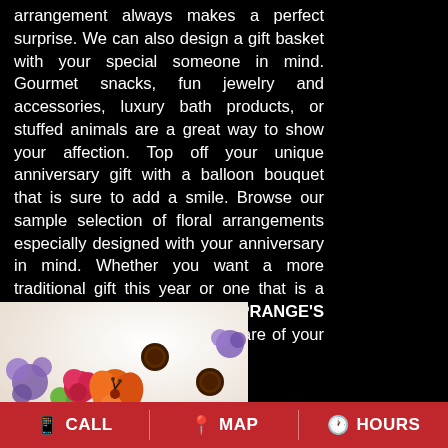arrangement always makes a perfect surprise. We can also design a gift basket with your special someone in mind. Gourmet snacks, fun jewelry and accessories, luxury bath products, or stuffed animals are a great way to show your affection. Top off your unique anniversary gift with a balloon bouquet that is sure to add a smile. Browse our sample selection of floral arrangements especially designed with your anniversary in mind. Whether you want a more traditional gift this year or one that is a little more unique, let PRANGE'S FLORIST in Gainesville take care of your anniversary needs.
[Figure (photo): Colorful floral arrangement featuring sunflowers, orange lilies, pink roses, purple flowers, and green chrysanthemums]
CALL  MAP  HOURS